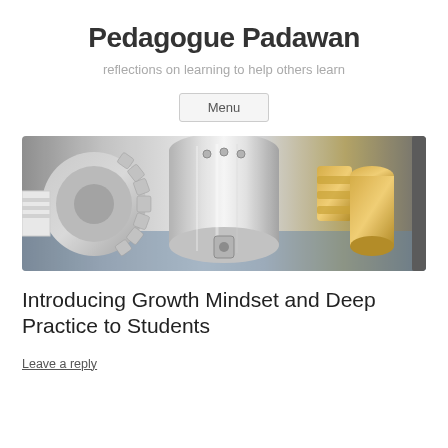Pedagogue Padawan
reflections on learning to help others learn
Menu
[Figure (photo): Close-up photograph of shiny metallic mechanical gears and machine components, silver and gold colored, industrial machinery]
Introducing Growth Mindset and Deep Practice to Students
Leave a reply